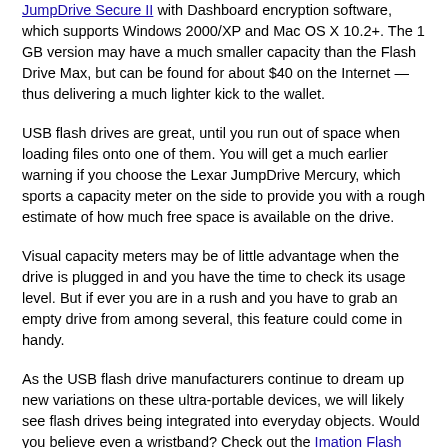JumpDrive Secure II with Dashboard encryption software, which supports Windows 2000/XP and Mac OS X 10.2+. The 1 GB version may have a much smaller capacity than the Flash Drive Max, but can be found for about $40 on the Internet — thus delivering a much lighter kick to the wallet.
USB flash drives are great, until you run out of space when loading files onto one of them. You will get a much earlier warning if you choose the Lexar JumpDrive Mercury, which sports a capacity meter on the side to provide you with a rough estimate of how much free space is available on the drive.
Visual capacity meters may be of little advantage when the drive is plugged in and you have the time to check its usage level. But if ever you are in a rush and you have to grab an empty drive from among several, this feature could come in handy.
As the USB flash drive manufacturers continue to dream up new variations on these ultra-portable devices, we will likely see flash drives being integrated into everyday objects. Would you believe even a wristband? Check out the Imation Flash Wristband. Now you can accidentally leave your keys behind, but still have your data.